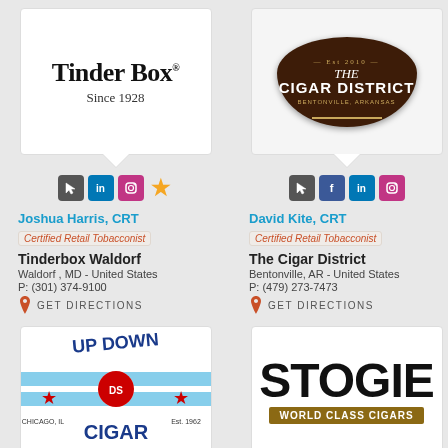[Figure (logo): Tinder Box logo with text 'Tinder Box Since 1928']
[Figure (logo): The Cigar District badge logo, dark brown oval shape with gold text]
Joshua Harris, CRT
Certified Retail Tobacconist
Tinderbox Waldorf
Waldorf , MD - United States
P: (301) 374-9100
GET DIRECTIONS
David Kite, CRT
Certified Retail Tobacconist
The Cigar District
Bentonville, AR - United States
P: (479) 273-7473
GET DIRECTIONS
[Figure (logo): Up Down Cigar logo with Chicago flag stripes and star, Chicago IL Est. 1962]
[Figure (logo): Stogies World Class Cigars logo, large black text STOGIES with brown banner World Class Cigars]